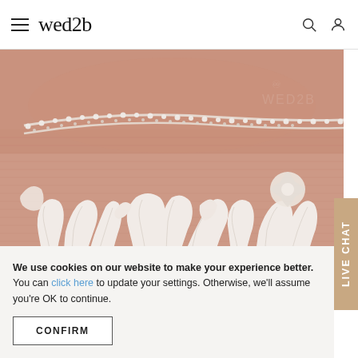wed2b — navigation bar with hamburger menu, logo, search and account icons
[Figure (photo): Close-up photo of white lace bridal dress detail showing intricate floral lace embroidery and pearl/bead trim along the neckline on a nude background. WED2B watermark visible in upper right.]
We use cookies on our website to make your experience better. You can click here to update your settings. Otherwise, we'll assume you're OK to continue.
CONFIRM